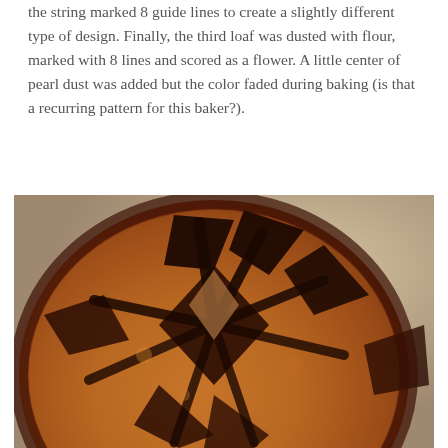the string marked 8 guide lines to create a slightly different type of design. Finally, the third loaf was dusted with flour, marked with 8 lines and scored as a flower. A little center of pearl dust was added but the color faded during baking (is that a recurring pattern for this baker?).
[Figure (photo): Close-up photograph of a scored sourdough bread loaf with dark scoring marks arranged in a decorative flower/star pattern. The crust is golden-brown with deep dark brown scoring lines that have opened up during baking, revealing a lighter interior. The bread appears to be heavily scored with a geometric design.]